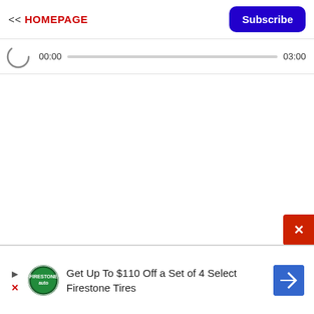<< HOMEPAGE
[Figure (screenshot): Blue Subscribe button in top right corner of navigation bar]
[Figure (screenshot): Audio player showing 00:00 progress bar and 03:00 duration with spinning loading icon]
[Figure (screenshot): Red X close button partially visible at bottom right]
[Figure (screenshot): Advertisement banner: Get Up To $110 Off a Set of 4 Select Firestone Tires with Firestone auto logo and navigation arrow icon]